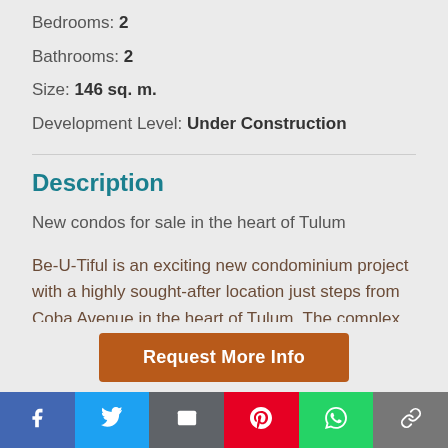Bedrooms: 2
Bathrooms: 2
Size: 146 sq. m.
Development Level: Under Construction
Description
New condos for sale in the heart of Tulum
Be-U-Tiful is an exciting new condominium project with a highly sought-after location just steps from Coba Avenue in the heart of Tulum. The complex is surrounded by jungle